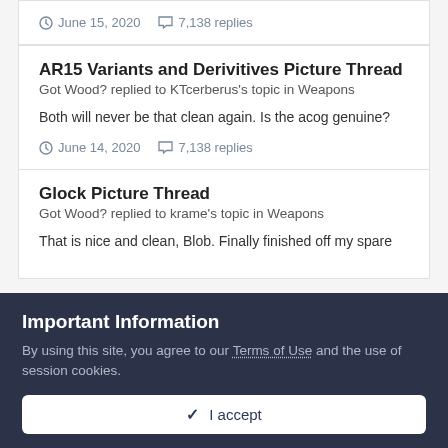June 15, 2020  7,138 replies
AR15 Variants and Derivitives Picture Thread
Got Wood? replied to KTcerberus's topic in Weapons
Both will never be that clean again. Is the acog genuine?
June 14, 2020  7,138 replies
Glock Picture Thread
Got Wood? replied to krame's topic in Weapons
That is nice and clean, Blob. Finally finished off my spare
Important Information
By using this site, you agree to our Terms of Use and the use of session cookies.
✔ I accept